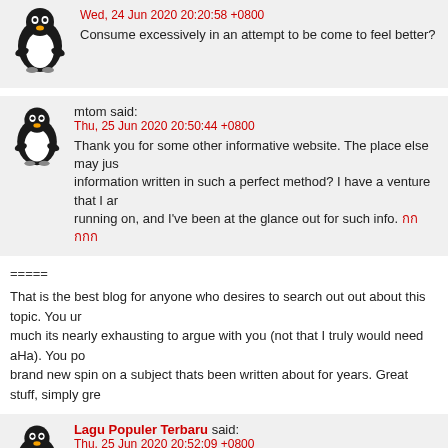Wed, 24 Jun 2020 20:20:58 +0800
Consume excessively in an attempt to be come to feel better?
mtom said:
Thu, 25 Jun 2020 20:50:44 +0800
Thank you for some other informative website. The place else may just anyone get that kind of information written in such a perfect method? I have a venture that I am just now running on, and I've been at the glance out for such info.
=====
That is the best blog for anyone who desires to search out out about this topic. You understand so much its nearly exhausting to argue with you (not that I truly would need aHa). You positively put a brand new spin on a subject thats been written about for years. Great stuff, simply gre
Lagu Populer Terbaru said:
Thu, 25 Jun 2020 20:52:09 +0800
When i open the Give food to it provides me with many different garbled text, is the concern on my small end?
mtom said: